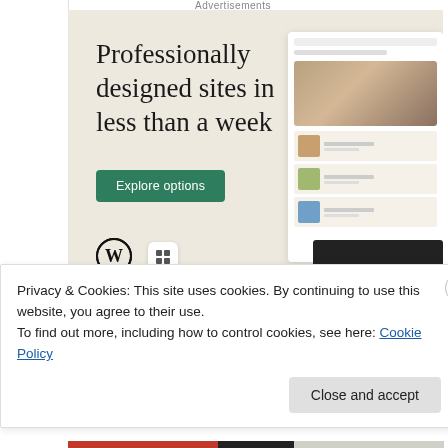Advertisements
[Figure (illustration): WordPress advertisement banner with beige/cream background. Headline reads 'Professionally designed sites in less than a week'. Green 'Explore options' button. WordPress logo bottom left. Website mockup images on right side.]
CATEGORY
Privacy & Cookies: This site uses cookies. By continuing to use this website, you agree to their use.
To find out more, including how to control cookies, see here: Cookie Policy
Close and accept